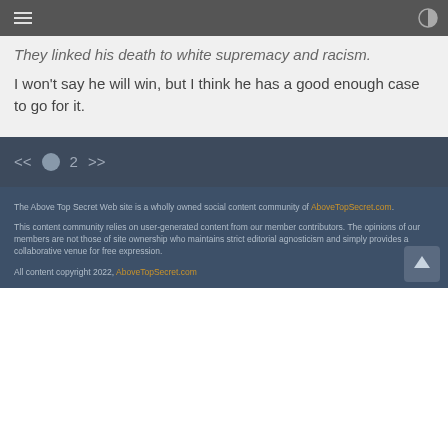They linked his death to white supremacy and racism.
I won't say he will win, but I think he has a good enough case to go for it.
<< 1 2 >>
The Above Top Secret Web site is a wholly owned social content community of AboveTopSecret.com.

This content community relies on user-generated content from our member contributors. The opinions of our members are not those of site ownership who maintains strict editorial agnosticism and simply provides a collaborative venue for free expression.

All content copyright 2022, AboveTopSecret.com